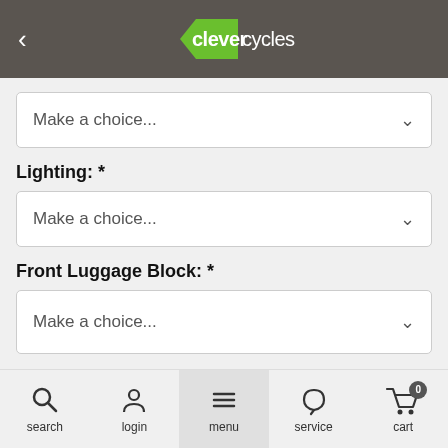[Figure (logo): Clever Cycles logo with green triangle and white text on dark gray header bar]
Make a choice...
Lighting: *
Make a choice...
Front Luggage Block: *
Make a choice...
Stock: 1
search  login  menu  service  cart